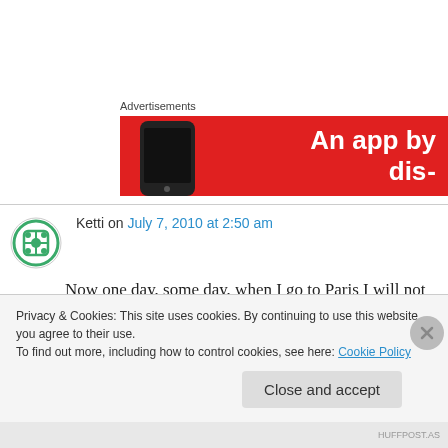[Figure (other): Advertisement banner with red background, phone image on left, and white text 'An app by' on right]
Ketti on July 7, 2010 at 2:50 am
Now one day, some day, when I go to Paris I will not succumb to the allure of the nefarious Monoprix.
Privacy & Cookies: This site uses cookies. By continuing to use this website, you agree to their use.
To find out more, including how to control cookies, see here: Cookie Policy
Close and accept